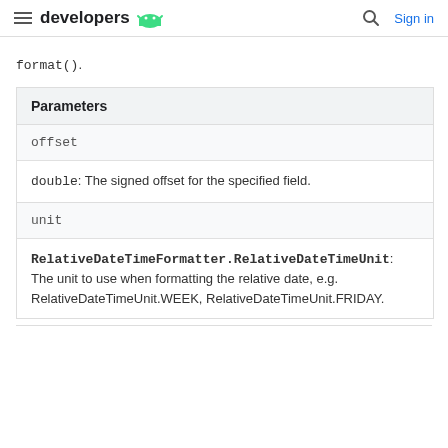developers Sign in
format().
| Parameters |
| --- |
| offset |
| double: The signed offset for the specified field. |
| unit |
| RelativeDateTimeFormatter.RelativeDateTimeUnit: The unit to use when formatting the relative date, e.g. RelativeDateTimeUnit.WEEK, RelativeDateTimeUnit.FRIDAY. |